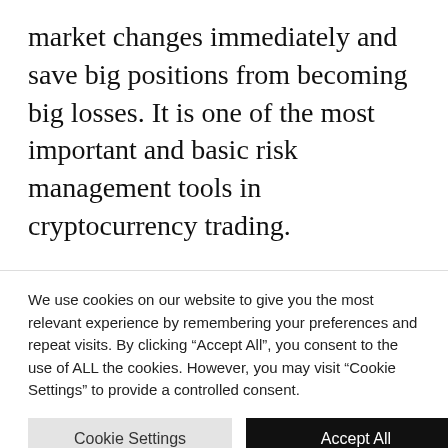market changes immediately and save big positions from becoming big losses. It is one of the most important and basic risk management tools in cryptocurrency trading.

Speaking simply, stop-loss is the price level at which you agree to take a loss and sell your digital assets until their value hasn't declined
We use cookies on our website to give you the most relevant experience by remembering your preferences and repeat visits. By clicking "Accept All", you consent to the use of ALL the cookies. However, you may visit "Cookie Settings" to provide a controlled consent.
Read our Cookie Statement